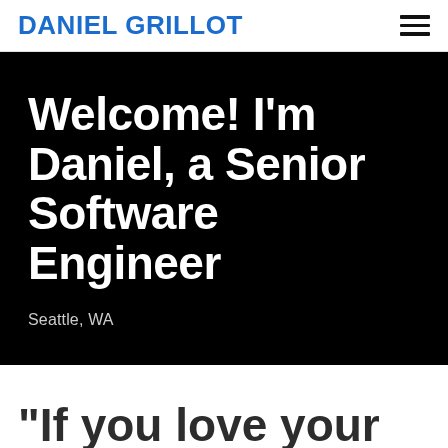DANIEL GRILLOT
Welcome! I'm Daniel, a Senior Software Engineer
Seattle, WA
"If you love your